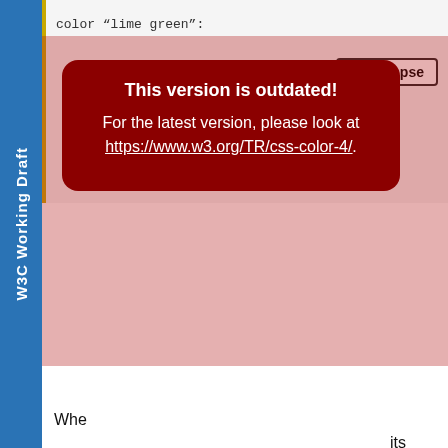W3C Working Draft
color "lime green":
[Figure (screenshot): Code block with collapse button showing keyword/RGB/comment code lines]
This version is outdated! For the latest version, please look at https://www.w3.org/TR/css-color-4/.
When its alpha component, has no effect on "color glyphs" (such as the emoji in some fonts), which are colored by a built-in palette. However, some colored fonts are able to refer to a contextual “foreground color”, such as by palette entry '0xFFFF' in the C0LR table of OpenType, or by the 'context-fill' value in SVG-in-OpenType. In such cases, the foreground color is set by this property, identical to how it sets the 'currentcolor' value.